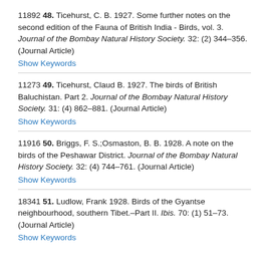11892 48. Ticehurst, C. B. 1927. Some further notes on the second edition of the Fauna of British India - Birds, vol. 3. Journal of the Bombay Natural History Society. 32: (2) 344–356. (Journal Article)
Show Keywords
11273 49. Ticehurst, Claud B. 1927. The birds of British Baluchistan. Part 2. Journal of the Bombay Natural History Society. 31: (4) 862–881. (Journal Article)
Show Keywords
11916 50. Briggs, F. S.;Osmaston, B. B. 1928. A note on the birds of the Peshawar District. Journal of the Bombay Natural History Society. 32: (4) 744–761. (Journal Article)
Show Keywords
18341 51. Ludlow, Frank 1928. Birds of the Gyantse neighbourhood, southern Tibet.–Part II. Ibis. 70: (1) 51–73. (Journal Article)
Show Keywords